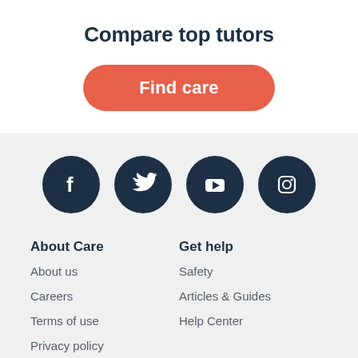Compare top tutors
[Figure (infographic): Orange rounded rectangle button labeled Find care]
[Figure (infographic): Four dark navy social media icons in circles: Facebook, Twitter, YouTube, Instagram]
About Care
About us
Careers
Terms of use
Privacy policy
Get help
Safety
Articles & Guides
Help Center
D... (partially visible)
Di... (partially visible)